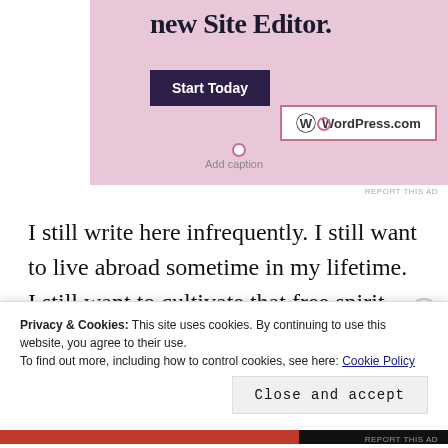[Figure (screenshot): WordPress.com advertisement banner with pink background showing 'new Site Editor.' text, a dark 'Start Today' button, and the WordPress.com logo in a bordered box]
Add caption
REPORT THIS AD
I still write here infrequently. I still want to live abroad sometime in my lifetime. I still want to cultivate that free spirit that was ready to jet set to Thailand solo, that bravery. However, I know I am
Privacy & Cookies: This site uses cookies. By continuing to use this website, you agree to their use.
To find out more, including how to control cookies, see here: Cookie Policy
Close and accept